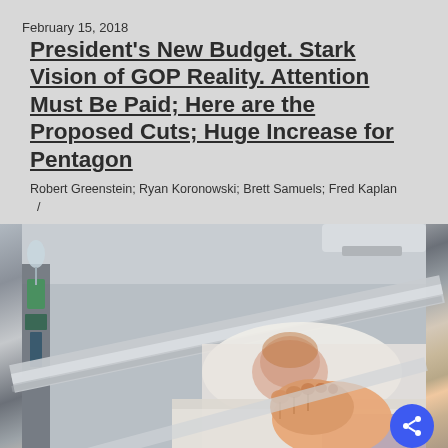February 15, 2018
President's New Budget. Stark Vision of GOP Reality. Attention Must Be Paid; Here are the Proposed Cuts; Huge Increase for Pentagon
Robert Greenstein; Ryan Koronowski; Brett Samuels; Fred Kaplan /
[Figure (photo): Child patient lying in a hospital bed, feet visible in foreground with medical equipment in the background. A share button (blue circle with share icon) is overlaid in the bottom right corner.]